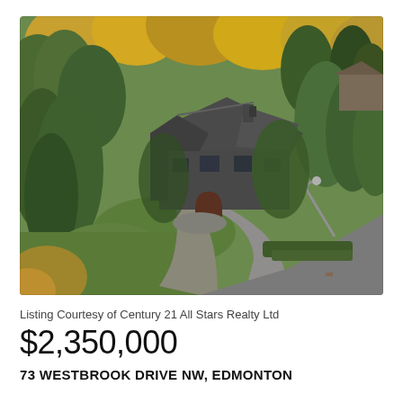[Figure (photo): Aerial drone photograph of a large luxury home surrounded by tall evergreen and deciduous trees in autumn colours (green, yellow, orange). The home has a dark grey/charcoal exterior with a gabled roof. A curved driveway leads to the property. A street lamp and road are visible in the lower right corner.]
Listing Courtesy of Century 21 All Stars Realty Ltd
$2,350,000
73 WESTBROOK DRIVE NW, EDMONTON